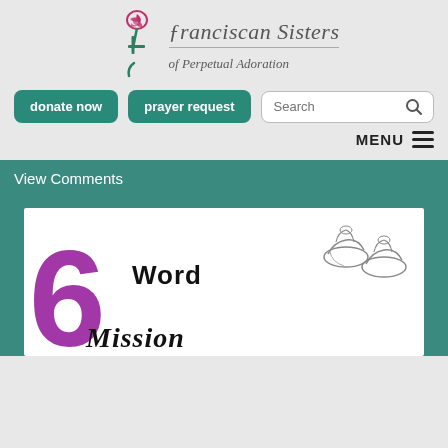[Figure (logo): Franciscan Sisters of Perpetual Adoration logo with rose and cross icon]
donate now
prayer request
Search
MENU
View Comments
[Figure (illustration): 6 Word Mission illustration with large purple number 6, sandals sketch, and text 'Word Mission' in black lettering]